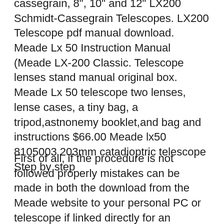Cassegrain, 8", 10" and 12" LX200 Schmidt-Cassegrain Telescopes. LX200 Telescope pdf manual download. Meade Lx 50 Instruction Manual (Meade LX-200 Classic. Telescope lenses stand manual original box. Meade Lx 50 telescope two lenses, lense cases, a tiny bag, a tripod,astnonemy booklet,and bag and instructions $66.00 Meade lx50 8105003 203mm catadioptric telescope Step by step
First of all, if the procedure is not followed properly mistakes can be made in both the download from the Meade website to your personal PC or telescope if linked directly for an upgrade OR it may be that the "latest